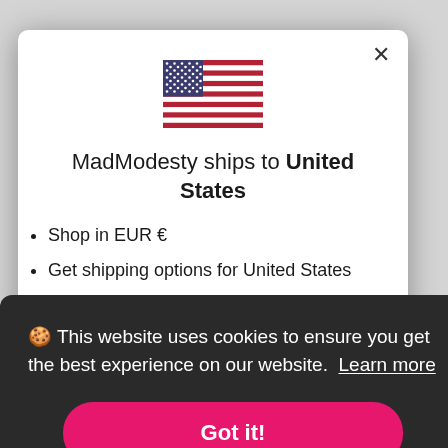[Figure (screenshot): Screenshot of a website modal dialog showing MadModesty shipping notice for United States, with a US flag icon, overlaid by a cookie consent banner with a 'Got it!' button]
MadModesty ships to United States
Shop in EUR €
Get shipping options for United States
🍪 This website uses cookies to ensure you get the best experience on our website. Learn more
Got it!